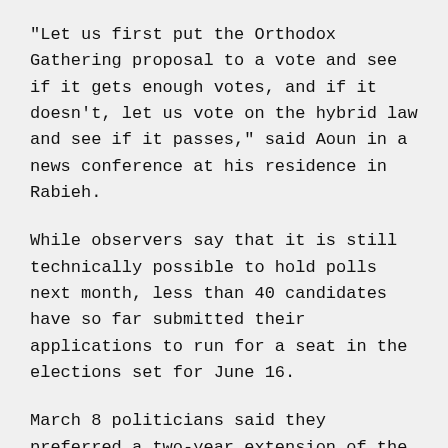“Let us first put the Orthodox Gathering proposal to a vote and see if it gets enough votes, and if it doesn’t, let us vote on the hybrid law and see if it passes,” said Aoun in a news conference at his residence in Rabieh.
While observers say that it is still technically possible to hold polls next month, less than 40 candidates have so far submitted their applications to run for a seat in the elections set for June 16.
March 8 politicians said they preferred a two-year extension of the Parliament’s term, over a shorter one.
MP Fattoush who defected from March 14 to the March 8